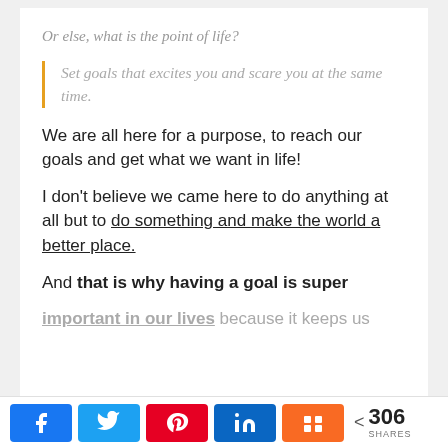Or else, what is the point of life?
Set goals that excites you and scare you at the same time.
We are all here for a purpose, to reach our goals and get what we want in life!
I don't believe we came here to do anything at all but to do something and make the world a better place.
And that is why having a goal is super important in our lives because it keeps us
[Figure (infographic): Social share bar with Facebook, Twitter, Pinterest, LinkedIn, Mix buttons and 306 shares count]